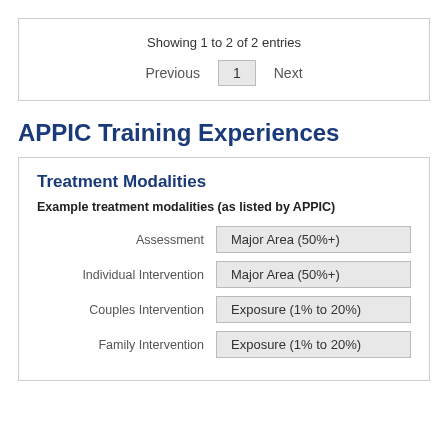Showing 1 to 2 of 2 entries
Previous  1  Next
APPIC Training Experiences
Treatment Modalities
Example treatment modalities (as listed by APPIC)
| Modality | Level |
| --- | --- |
| Assessment | Major Area (50%+) |
| Individual Intervention | Major Area (50%+) |
| Couples Intervention | Exposure  (1% to 20%) |
| Family Intervention | Exposure  (1% to 20%) |